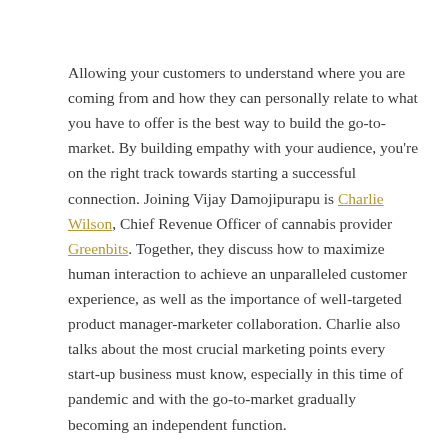Allowing your customers to understand where you are coming from and how they can personally relate to what you have to offer is the best way to build the go-to-market. By building empathy with your audience, you're on the right track towards starting a successful connection. Joining Vijay Damojipurapu is Charlie Wilson, Chief Revenue Officer of cannabis provider Greenbits. Together, they discuss how to maximize human interaction to achieve an unparalleled customer experience, as well as the importance of well-targeted product manager-marketer collaboration. Charlie also talks about the most crucial marketing points every start-up business must know, especially in this time of pandemic and with the go-to-market gradually becoming an independent function.